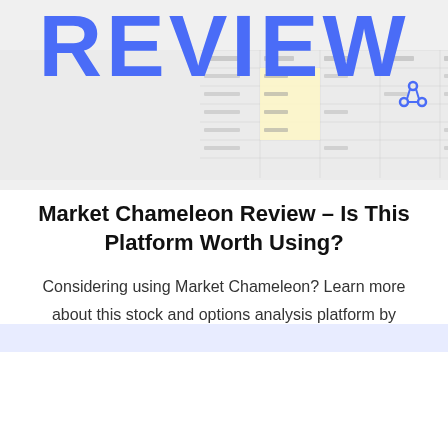[Figure (screenshot): Hero banner showing large bold blue 'REVIEW' text overlaid on a faint spreadsheet/table background with a node/graph icon in the top right corner]
Market Chameleon Review – Is This Platform Worth Using?
Considering using Market Chameleon? Learn more about this stock and options analysis platform by reading our full Market Chameleon review.